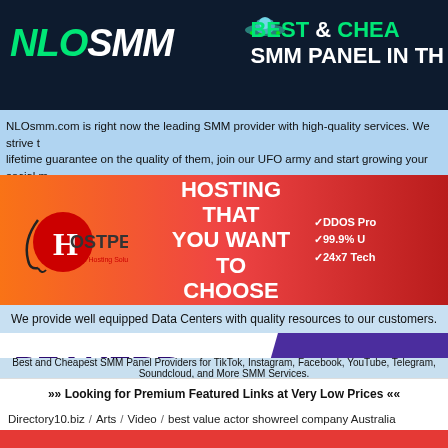[Figure (logo): NLO SMM logo banner on dark navy background with green italic NLO and white SMM text, with UFO icon, and tagline BEST & CHEAPEST SMM PANEL IN THE...]
NLOsmm.com is right now the leading SMM provider with high-quality services. We strive lifetime guarantee on the quality of them, join our UFO army and start growing your social m people and generate leads for your busines...
[Figure (infographic): HostPerl hosting advertisement banner with orange-red gradient background. Logo shows stylized H with fishing hook. Text: HOSTING THAT YOU WANT TO CHOOSE. Right side: DDOS Pro, 99.9% U, 24x7 Tech]
We provide well equipped Data Centers with quality resources to our customers.
[Figure (infographic): Peakerr Best SMM Panel banner with white left section showing PEAKERR in large dark purple text and Best SMM Panel badge, purple diagonal section on right]
Best and Cheapest SMM Panel Providers for TikTok, Instagram, Facebook, YouTube, Telegram, Soundcloud, and More SMM Services.
»» Looking for Premium Featured Links at Very Low Prices ««
Directory10.biz / Arts / Video / best value actor showreel company Australia